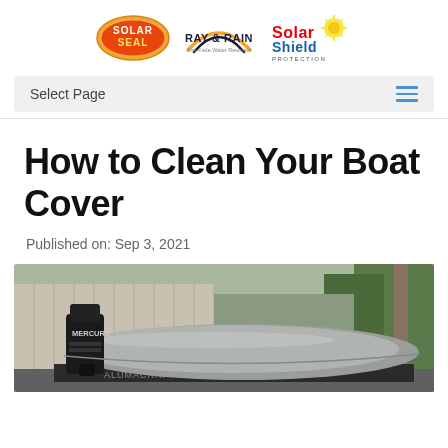[Figure (logo): Three logos side by side: Solar Seal (oval red/orange logo), Ray & Rain (arc logo with tagline 'Anti-Fade Water Resistant'), and Solar Shield Protection (red/yellow sun logo)]
Select Page
How to Clean Your Boat Cover
Published on: Sep 3, 2021
[Figure (photo): A boat with a grey cover on it, with a Mercury outboard motor visible, parked in front of a wooden fence with trees in the background. The boat brand Alumacraft is visible on the side.]